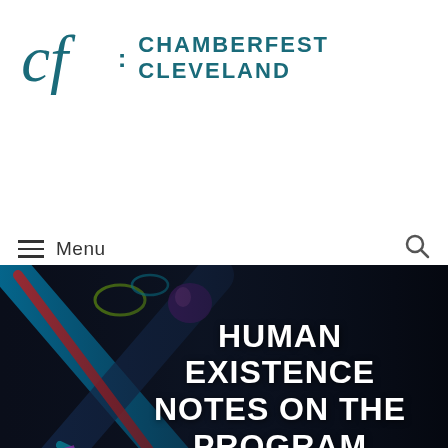[Figure (logo): Chamberfest Cleveland logo with stylized 'cf' monogram in teal script followed by colon and text 'CHAMBERFEST CLEVELAND' in teal uppercase letters]
≡ Menu
[Figure (illustration): Dark background hero image with colorful skeletal/artistic figure forming an X shape with vibrant neon colors (blue, red, yellow, green), overlaid with large white bold text reading 'HUMAN EXISTENCE NOTES ON THE PROGRAM']
HUMAN EXISTENCE NOTES ON THE PROGRAM